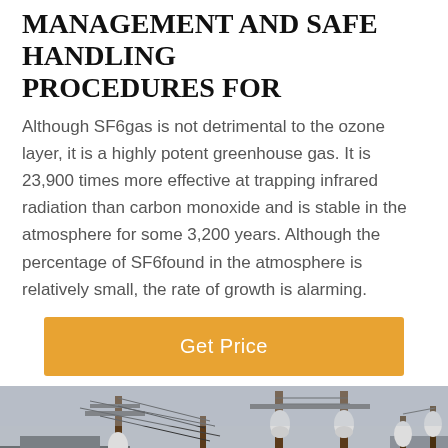MANAGEMENT AND SAFE HANDLING PROCEDURES FOR
Although SF6gas is not detrimental to the ozone layer, it is a highly potent greenhouse gas. It is 23,900 times more effective at trapping infrared radiation than carbon monoxide and is stable in the atmosphere for some 3,200 years. Although the percentage of SF6found in the atmosphere is relatively small, the rate of growth is alarming.
[Figure (other): Orange button bar with text 'Get Price']
[Figure (photo): Photograph of electrical substation infrastructure with tall poles and wires against a grey sky]
Leave Message   Chat Online